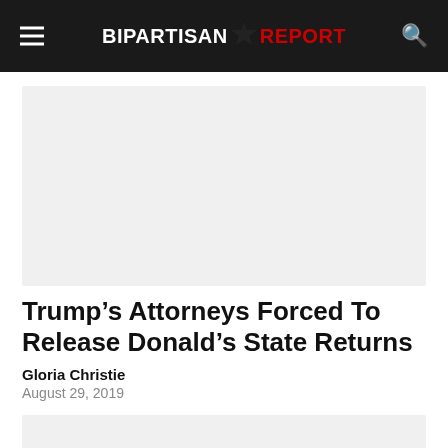BIPARTISAN REPORT
[Figure (other): Advertisement placeholder (gray rectangle)]
Trump’s Attorneys Forced To Release Donald’s State Returns
Gloria Christie
August 29, 2019
[Figure (other): Advertisement placeholder (gray rectangle) at bottom]